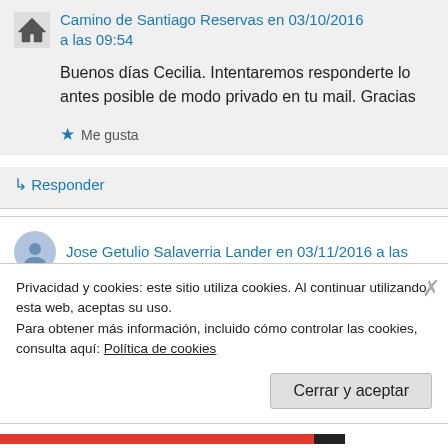Camino de Santiago Reservas en 03/10/2016 a las 09:54
Buenos días Cecilia. Intentaremos responderte lo antes posible de modo privado en tu mail. Gracias
★ Me gusta
↳ Responder
Jose Getulio Salaverria Lander en 03/11/2016 a las
Privacidad y cookies: este sitio utiliza cookies. Al continuar utilizando esta web, aceptas su uso.
Para obtener más información, incluido cómo controlar las cookies, consulta aquí: Política de cookies
Cerrar y aceptar